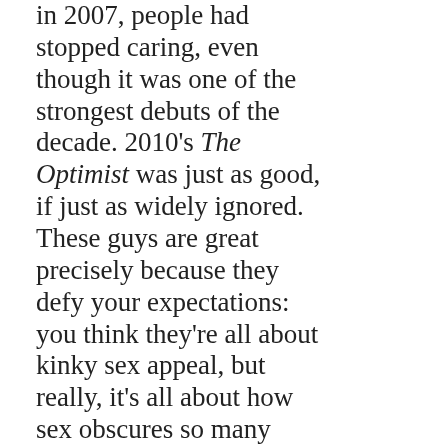in 2007, people had stopped caring, even though it was one of the strongest debuts of the decade. 2010's The Optimist was just as good, if just as widely ignored. These guys are great precisely because they defy your expectations: you think they're all about kinky sex appeal, but really, it's all about how sex obscures so many other things. "Before the Light" is built on as sexy and neurotic a groove as you're likely to hear anywhere this side